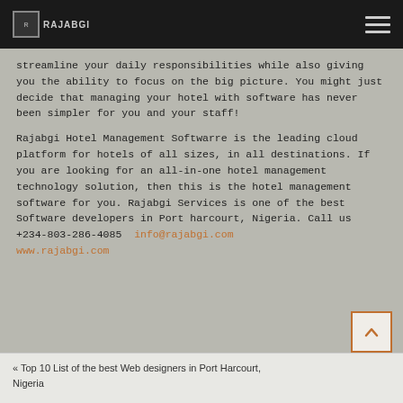RAJABGI
streamline your daily responsibilities while also giving you the ability to focus on the big picture. You might just decide that managing your hotel with software has never been simpler for you and your staff!
Rajabgi Hotel Management Softwarre is the leading cloud platform for hotels of all sizes, in all destinations. If you are looking for an all-in-one hotel management technology solution, then this is the hotel management software for you. Rajabgi Services is one of the best Software developers in Port harcourt, Nigeria. Call us +234-803-286-4085  info@rajabgi.com  www.rajabgi.com
« Top 10 List of the best Web designers in Port Harcourt, Nigeria